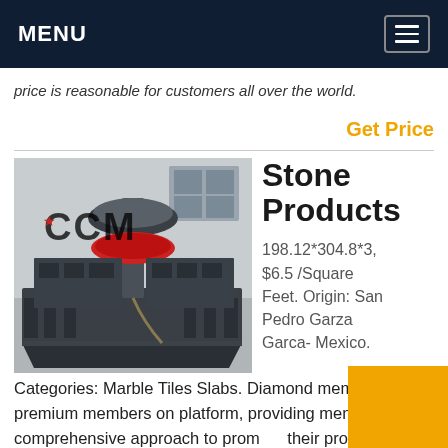MENU
price is reasonable for customers all over the world.
Get Price
[Figure (photo): Industrial stone crushing/processing machine (VSI sand making machine) on a platform in a factory setting, with CCM logo watermark overlay.]
Stone Products
198.12*304.8*3, $6.5 /Square Feet. Origin: San Pedro Garza Garca- Mexico.
Categories: Marble Tiles Slabs. Diamond members are premium members on platform, providing members with comprehensive approach to promote their products, increasing products exposure and investment return to maximize.